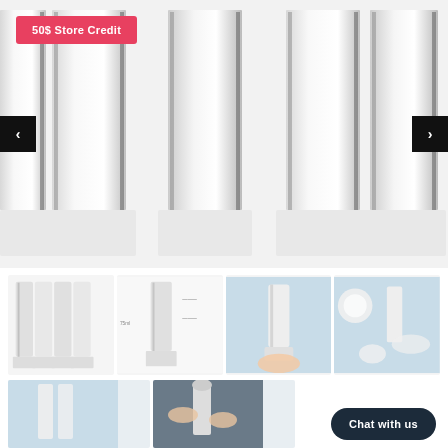[Figure (photo): Large product image showing four white airless pump bottles arranged side by side on white background, with a red '50$ Store Credit' badge in top-left corner and left/right navigation arrows]
[Figure (photo): Thumbnail 1: Multiple clear/white pump bottles grouped together]
[Figure (photo): Thumbnail 2: Single bottle with dimensions diagram]
[Figure (photo): Thumbnail 3: Hand holding a clear pump bottle against light blue background]
[Figure (photo): Thumbnail 4: Disassembled bottle components on light blue background]
[Figure (photo): Bottom thumbnail 1: Close-up of bottle detail on light blue background]
[Figure (photo): Bottom thumbnail 2: Hands pressing pump of a bottle]
50$ Store Credit
Chat with us